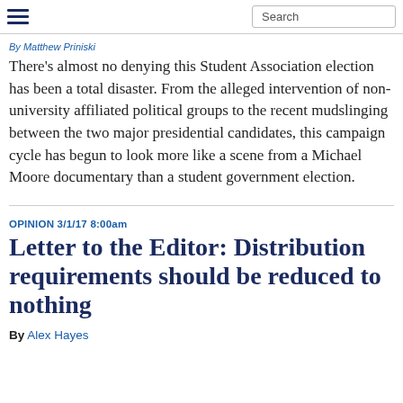Search
There’s almost no denying this Student Association election has been a total disaster. From the alleged intervention of non-university affiliated political groups to the recent mudslinging between the two major presidential candidates, this campaign cycle has begun to look more like a scene from a Michael Moore documentary than a student government election.
OPINION 3/1/17 8:00am
Letter to the Editor: Distribution requirements should be reduced to nothing
By Alex Hayes